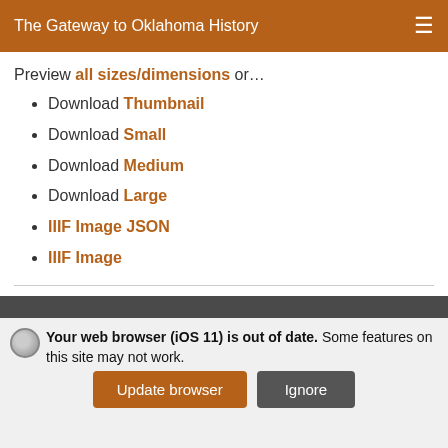The Gateway to Oklahoma History
Preview all sizes/dimensions or…
Download Thumbnail
Download Small
Download Medium
Download Large
IIIF Image JSON
IIIF Image
View Extracted (OCR) Text
Your web browser (iOS 11) is out of date. Some features on this site may not work.